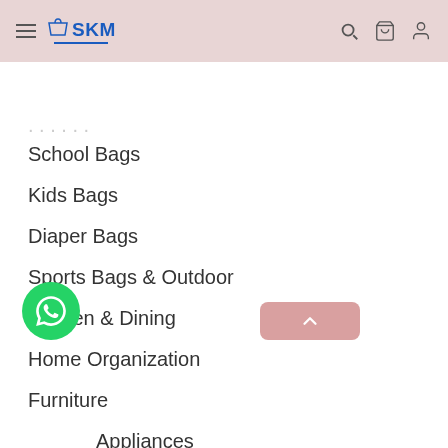SKM store header with navigation icons
Product | Description
School Bags
Kids Bags
Diaper Bags
Sports Bags & Outdoor
Kitchen & Dining
Home Organization
Furniture
Appliances
Decor
Laundry & Cleaning
Pest Control
Towels